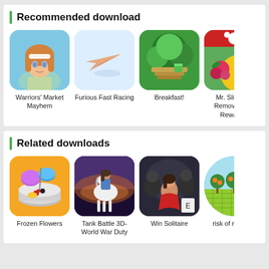Recommended download
[Figure (illustration): Warriors' Market Mayhem app icon - anime girl with orange hair]
Warriors' Market Mayhem
[Figure (illustration): Furious Fast Racing app icon - paper airplane on light blue background]
Furious Fast Racing
[Figure (illustration): Breakfast! app icon - forest/nature scene with green trees]
Breakfast!
[Figure (illustration): Mr. Slice app icon - chick with roses, partial view]
Mr. Slice(AD Remove-Free Rewards)
Related downloads
[Figure (illustration): Frozen Flowers app icon - cooking pan with colorful ingredients on orange background]
Frozen Flowers
[Figure (illustration): Tank Battle 3D-World War Duty app icon - white horse with woman rider at sunset]
Tank Battle 3D-World War Duty
[Figure (illustration): Win Solitaire app icon - dark scene with characters]
Win Solitaire
[Figure (illustration): risk of rain 2 mod app icon - circular with orange trees on green grid, partial view]
risk of rain 2 m